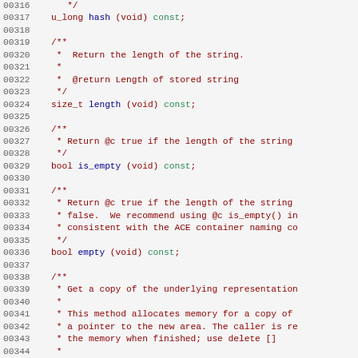[Figure (screenshot): Source code listing showing C++ class method declarations with line numbers 00316-00345, featuring comments and method signatures with syntax highlighting.]